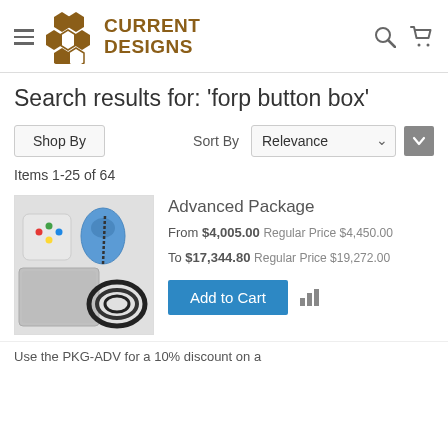Current Designs
Search results for: 'forp button box'
Shop By   Sort By Relevance
Items 1-25 of 64
Advanced Package
From $4,005.00 Regular Price $4,450.00 To $17,344.80 Regular Price $19,272.00
[Figure (photo): Product photo showing advanced package components including controller, track device, cables and accessories]
Add to Cart
Use the PKG-ADV for a 10% discount on a